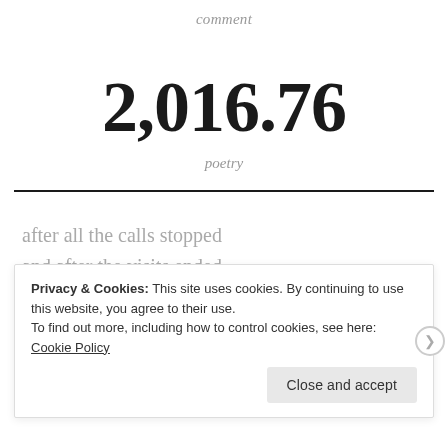comment
2,016.76
poetry
after all the calls stopped
and after the visits ended,
after i threw you out,
Privacy & Cookies: This site uses cookies. By continuing to use this website, you agree to their use.
To find out more, including how to control cookies, see here: Cookie Policy
Close and accept